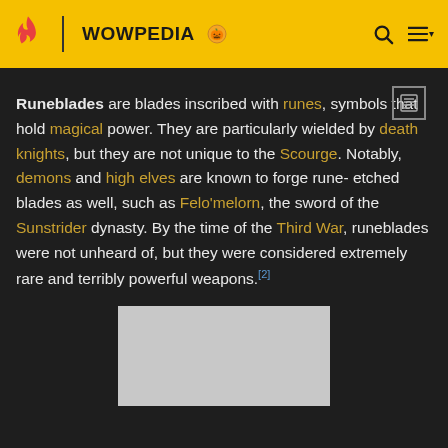WOWPEDIA
Runeblades are blades inscribed with runes, symbols that hold magical power. They are particularly wielded by death knights, but they are not unique to the Scourge. Notably, demons and high elves are known to forge rune-etched blades as well, such as Felo'melorn, the sword of the Sunstrider dynasty. By the time of the Third War, runeblades were not unheard of, but they were considered extremely rare and terribly powerful weapons.[2]
[Figure (photo): Image placeholder for a runeblade or related artwork]